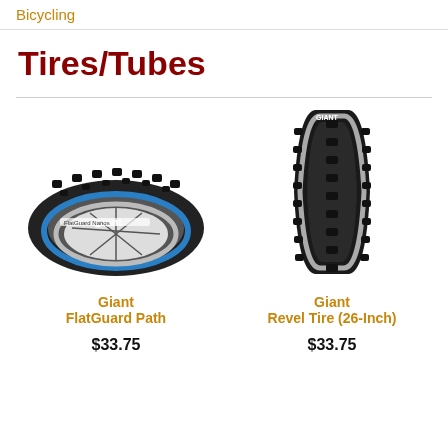Bicycling
Tires/Tubes
[Figure (photo): Giant FlatGuard Path bicycle tire showing knobby tread, blue sidewall stripe, silver spoke rim visible at bottom]
Giant
FlatGuard Path
$33.75
[Figure (photo): Giant Revel Tire 26-Inch bicycle tire showing knobby tread, silver sidewall, narrow profile vertical orientation]
Giant
Revel Tire (26-Inch)
$33.75